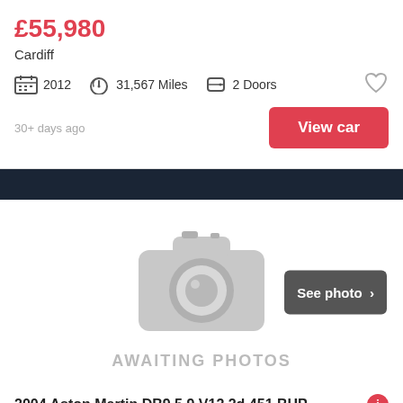£55,980
Cardiff
2012  31,567 Miles  2 Doors
30+ days ago
View car
[Figure (photo): Awaiting photos placeholder with grey camera icon and 'AWAITING PHOTOS' text. A 'See photo >' button appears to the right.]
2004 Aston Martin DB9 5.9 V12 2d 451 BHP
£34,000
Newport